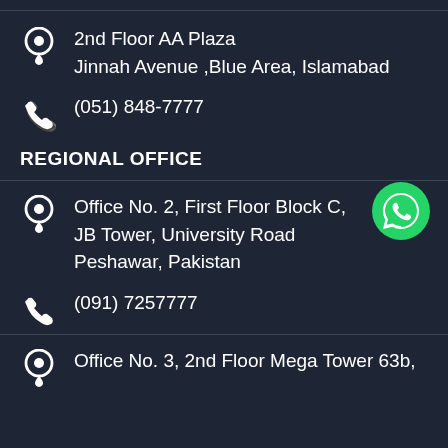2nd Floor AA Plaza
Jinnah Avenue ,Blue Area, Islamabad
(051) 848-7777
REGIONAL OFFICE
Office No. 2, First Floor Block C,
JB Tower, University Road
Peshawar, Pakistan
(091) 7257777
Office No. 3, 2nd Floor Mega Tower 63b,